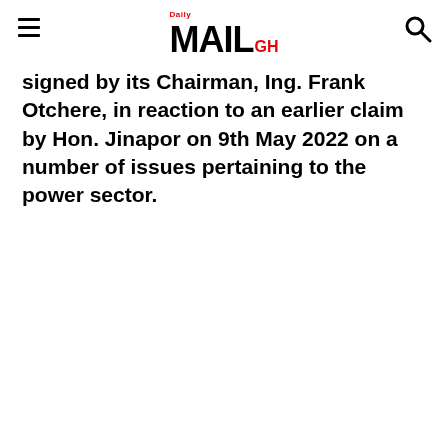Daily MAIL GH
signed by its Chairman, Ing. Frank Otchere, in reaction to an earlier claim by Hon. Jinapor on 9th May 2022 on a number of issues pertaining to the power sector.